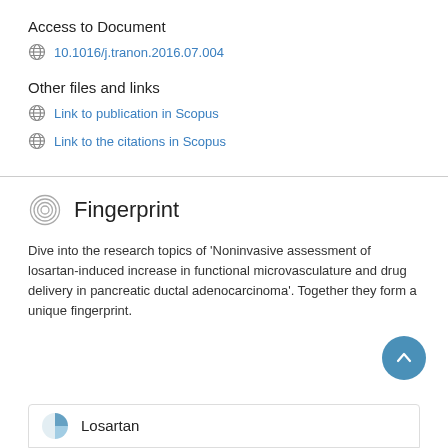Access to Document
10.1016/j.tranon.2016.07.004
Other files and links
Link to publication in Scopus
Link to the citations in Scopus
Fingerprint
Dive into the research topics of 'Noninvasive assessment of losartan-induced increase in functional microvasculature and drug delivery in pancreatic ductal adenocarcinoma'. Together they form a unique fingerprint.
Losartan